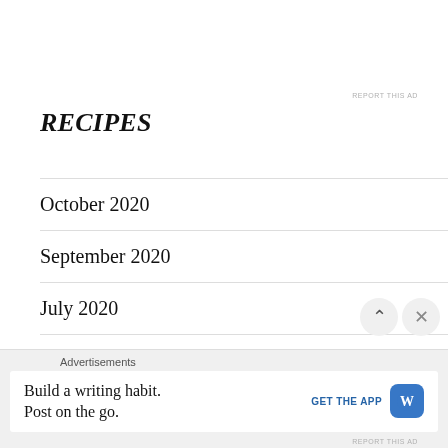RECIPES
October 2020
September 2020
July 2020
June 2020
May 2020
Advertisements
Build a writing habit. Post on the go.
GET THE APP